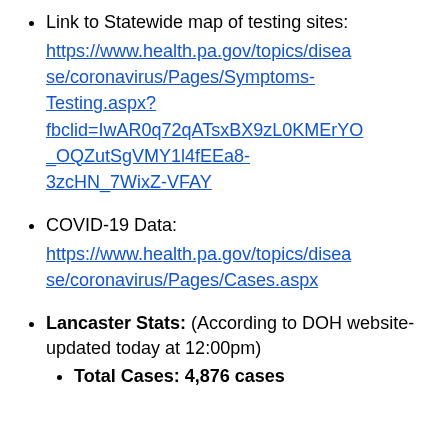Link to Statewide map of testing sites: https://www.health.pa.gov/topics/disease/coronavirus/Pages/Symptoms-Testing.aspx?fbclid=IwAR0q72qATsxBX9zL0KMErYO_OQZutSgVMY1l4fEEa8-3zcHN_7WixZ-VFAY
COVID-19 Data: https://www.health.pa.gov/topics/disease/coronavirus/Pages/Cases.aspx
Lancaster Stats: (According to DOH website- updated today at 12:00pm)
Total Cases: 4,876 cases